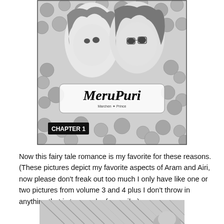[Figure (illustration): Black and white manga cover image for 'MeruPuri' (Marchen Prince), showing two anime characters (a girl and a boy) surrounded by roses. Large decorative title 'MeruPuri' with subtitle text. 'CHAPTER 1' label in black box at bottom left of image.]
Now this fairy tale romance is my favorite for these reasons. (These pictures depict my favorite aspects of Aram and Airi, now please don't freak out too much I only have like one or two pictures from volume 3 and 4 plus I don't throw in anything that is too much of a spoiler).
[Figure (illustration): Partial black and white manga illustration visible at the bottom of the page, showing diagonal lines and a character.]